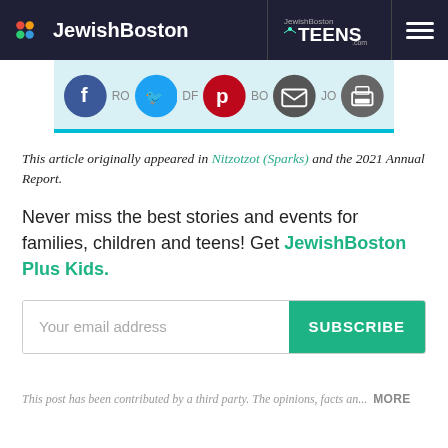JewishBoston | JewishBoston TEENS.com
[Figure (screenshot): Social sharing buttons: Facebook (blue), Twitter (light blue), Pinterest (red), Email (dark), and Print (dark) icons on a light blue background with a teal bottom border]
This article originally appeared in Nitzotzot (Sparks) and the 2021 Annual Report.
Never miss the best stories and events for families, children and teens! Get JewishBoston Plus Kids.
Your email address  SUBSCRIBE
This post has been contributed by a third party. The opinions, facts an...  MORE